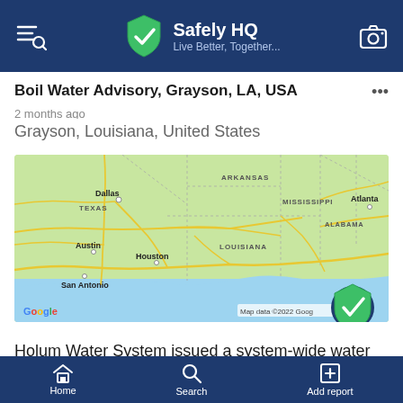Safely HQ — Live Better, Together...
Boil Water Advisory, Grayson, LA, USA
2 months ago
Grayson, Louisiana, United States
[Figure (map): Google Maps view showing south-central United States including Texas, Louisiana, Arkansas, Mississippi, Alabama with cities Dallas, Austin, Houston, San Antonio, Atlanta labeled. Map data ©2022 Google.]
Holum Water System issued a system-wide water boil
Home   Search   Add report